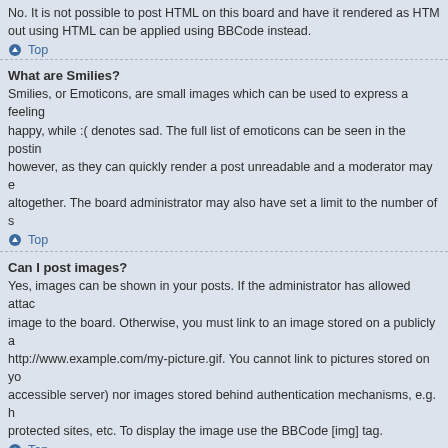No. It is not possible to post HTML on this board and have it rendered as HTML out using HTML can be applied using BBCode instead.
Top
What are Smilies?
Smilies, or Emoticons, are small images which can be used to express a feeling happy, while :( denotes sad. The full list of emoticons can be seen in the posting however, as they can quickly render a post unreadable and a moderator may e altogether. The board administrator may also have set a limit to the number of s
Top
Can I post images?
Yes, images can be shown in your posts. If the administrator has allowed attach image to the board. Otherwise, you must link to an image stored on a publicly a http://www.example.com/my-picture.gif. You cannot link to pictures stored on yo accessible server) nor images stored behind authentication mechanisms, e.g. h protected sites, etc. To display the image use the BBCode [img] tag.
Top
What are global announcements?
Global announcements contain important information and you should read them at the top of every forum and within your User Control Panel. Global announcer board administrator.
Top
What are announcements?